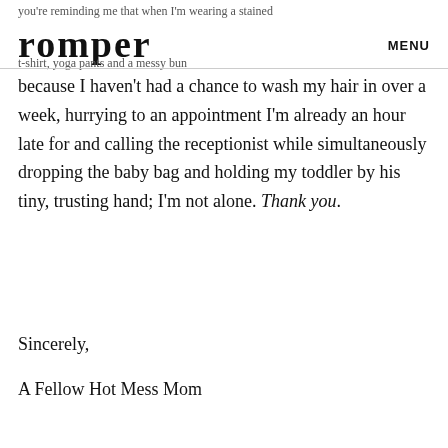romper | MENU
because I haven't had a chance to wash my hair in over a week, hurrying to an appointment I'm already an hour late for and calling the receptionist while simultaneously dropping the baby bag and holding my toddler by his tiny, trusting hand; I'm not alone. Thank you.
Sincerely,
A Fellow Hot Mess Mom